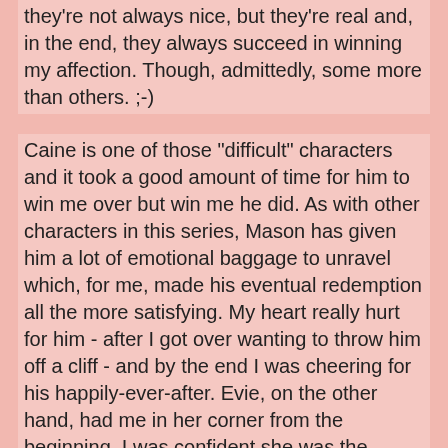they're not always nice, but they're real and, in the end, they always succeed in winning my affection. Though, admittedly, some more than others. ;-)
Caine is one of those "difficult" characters and it took a good amount of time for him to win me over but win me he did. As with other characters in this series, Mason has given him a lot of emotional baggage to unravel which, for me, made his eventual redemption all the more satisfying. My heart really hurt for him - after I got over wanting to throw him off a cliff - and by the end I was cheering for his happily-ever-after. Evie, on the other hand, had me in her corner from the beginning. I was confident she was the perfect "Christmas Elf" to bring Caine out of the darkness and help him remember the good that Christmas and family are supposed to represent.
Christmas in Harmony Harbor is an engaging, heartwarming holiday romance that can be read and